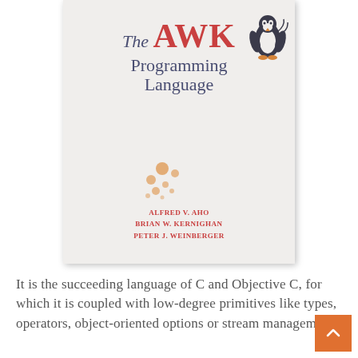[Figure (illustration): Book cover of 'The AWK Programming Language' by Alfred V. Aho, Brian W. Kernighan, Peter J. Weinberger. Light gray/off-white cover with title in navy and red, a small penguin illustration, decorative dots, and authors' names in red.]
It is the succeeding language of C and Objective C, for which it is coupled with low-degree primitives like types, operators, object-oriented options or stream management.